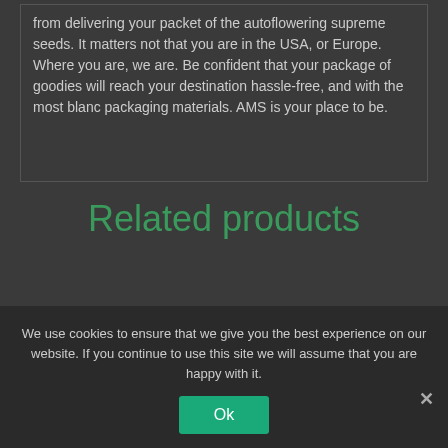from delivering your packet of the autoflowering supreme seeds. It matters not that you are in the USA, or Europe. Where you are, we are. Be confident that your package of goodies will reach your destination hassle-free, and with the most blanc packaging materials. AMS is your place to be.
Related products
[Figure (other): White product image bar placeholder]
We use cookies to ensure that we give you the best experience on our website. If you continue to use this site we will assume that you are happy with it.
Ok